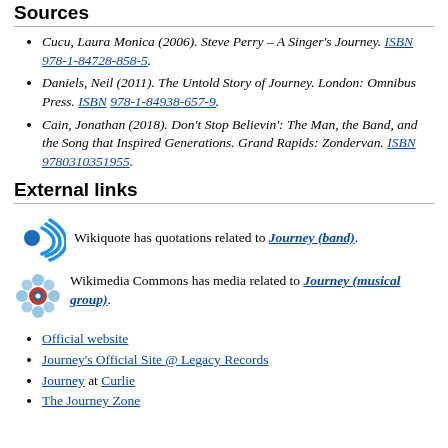Sources
Cucu, Laura Monica (2006). Steve Perry – A Singer's Journey. ISBN 978-1-84728-858-5.
Daniels, Neil (2011). The Untold Story of Journey. London: Omnibus Press. ISBN 978-1-84938-657-9.
Cain, Jonathan (2018). Don't Stop Believin': The Man, the Band, and the Song that Inspired Generations. Grand Rapids: Zondervan. ISBN 9780310351955.
External links
[Figure (logo): Wikiquote logo - blue dot with sound waves]
Wikiquote has quotations related to Journey (band).
[Figure (logo): Wikimedia Commons logo - red and blue globe symbol]
Wikimedia Commons has media related to Journey (musical group).
Official website
Journey's Official Site @ Legacy Records
Journey at Curlie
The Journey Zone